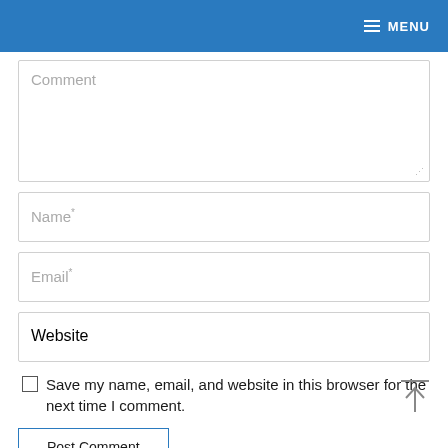MENU
Comment
Name*
Email*
Website
Save my name, email, and website in this browser for the next time I comment.
Post Comment